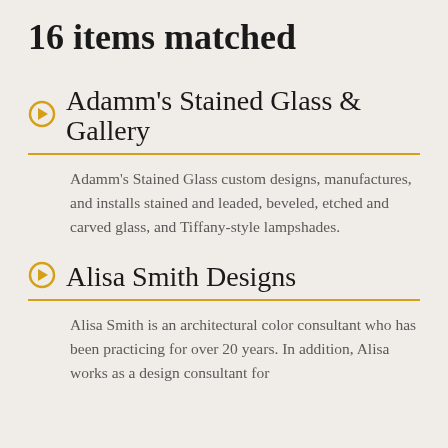16 items matched
Adamm's Stained Glass & Gallery
Adamm's Stained Glass custom designs, manufactures, and installs stained and leaded, beveled, etched and carved glass, and Tiffany-style lampshades.
Alisa Smith Designs
Alisa Smith is an architectural color consultant who has been practicing for over 20 years. In addition, Alisa works as a design consultant for